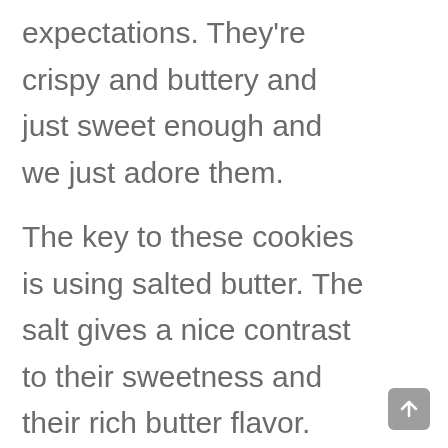expectations. They're crispy and buttery and just sweet enough and we just adore them.

The key to these cookies is using salted butter. The salt gives a nice contrast to their sweetness and their rich butter flavor. Since this is such a simple cookie, it helps to use a high-quality butter